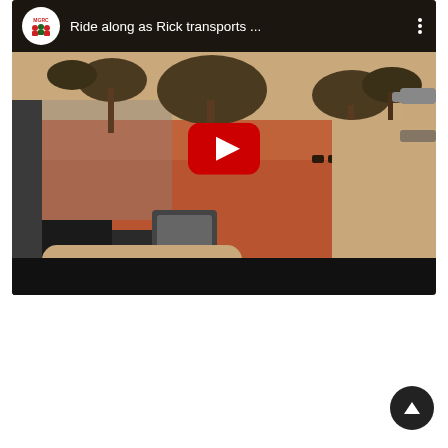[Figure (screenshot): YouTube video thumbnail showing a man driving a vehicle through an African savanna landscape with red/orange soil, sparse trees, and cattle visible in the background. The video has a YouTube-style dark header bar with an MGRC channel logo, the title 'Ride along as Rick transports ...' in white text, a three-dot menu icon, and a red YouTube play button in the center of the thumbnail.]
Visit MGRC Channel